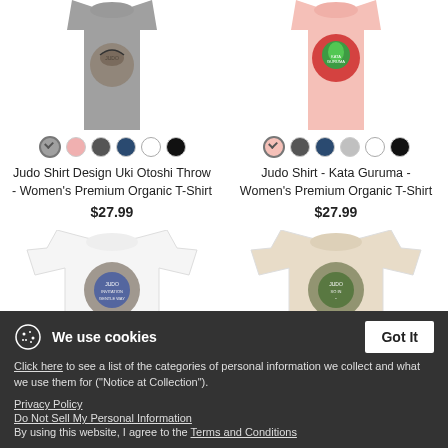[Figure (photo): Gray women's tank top with Judo Uki Otoshi throw design graphic]
[Figure (photo): Pink women's tank top with Judo Kata Guruma design graphic]
[Figure (other): Color swatches for left product: gray (selected with checkmark), pink, dark gray, navy, white, black]
[Figure (other): Color swatches for right product: light pink (selected with checkmark), dark gray, navy, light gray, white, black]
Judo Shirt Design Uki Otoshi Throw - Women's Premium Organic T-Shirt
$27.99
Judo Shirt - Kata Guruma - Women's Premium Organic T-Shirt
$27.99
[Figure (photo): White women's t-shirt partially visible with Judo circular graphic]
[Figure (photo): White/tan women's t-shirt partially visible with Judo circular graphic]
We use cookies
Click here to see a list of the categories of personal information we collect and what we use them for ("Notice at Collection").
Privacy Policy
Do Not Sell My Personal Information
By using this website, I agree to the Terms and Conditions